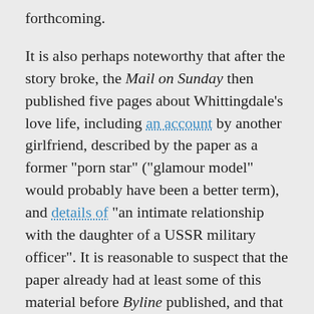forthcoming.
It is also perhaps noteworthy that after the story broke, the Mail on Sunday then published five pages about Whittingdale's love life, including an account by another girlfriend, described by the paper as a former "porn star" ("glamour model" would probably have been a better term), and details of "an intimate relationship with the daughter of a USSR military officer". It is reasonable to suspect that the paper already had at least some of this material before Byline published, and that there was some reason for holding it back that no longer existed once the Byline articles had appeared.
Thus it does look like Whittingale was perhaps afforded a courtesy, for whatever reason, although I'm sceptical that the dynamic was as crude